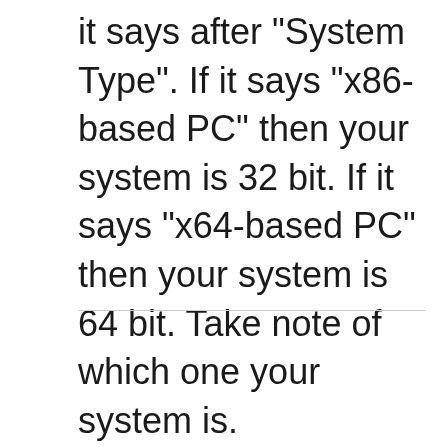it says after "System Type". If it says "x86-based PC" then your system is 32 bit. If it says "x64-based PC" then your system is 64 bit. Take note of which one your system is.